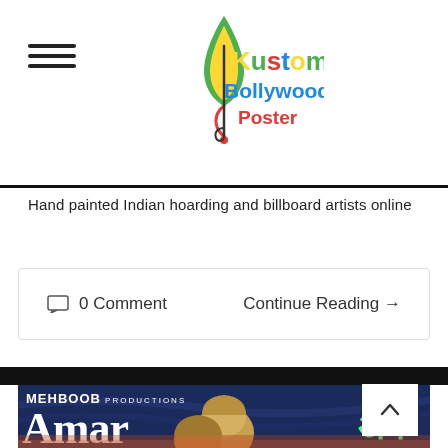[Figure (logo): Kustom Bollywood Poster logo with musical note and colorful text]
Hand painted Indian hoarding and billboard artists online
0 Comment    Continue Reading →
[Figure (photo): Bollywood movie poster for 'Amar' by Mehboob Productions showing painted faces of actors with Hindi text]